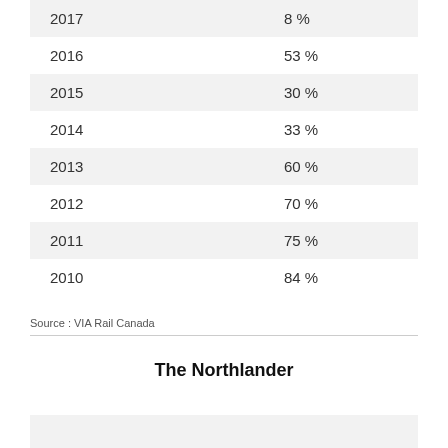| Year | Percentage |
| --- | --- |
| 2017 | 8 % |
| 2016 | 53 % |
| 2015 | 30 % |
| 2014 | 33 % |
| 2013 | 60 % |
| 2012 | 70 % |
| 2011 | 75 % |
| 2010 | 84 % |
Source : VIA Rail Canada
The Northlander